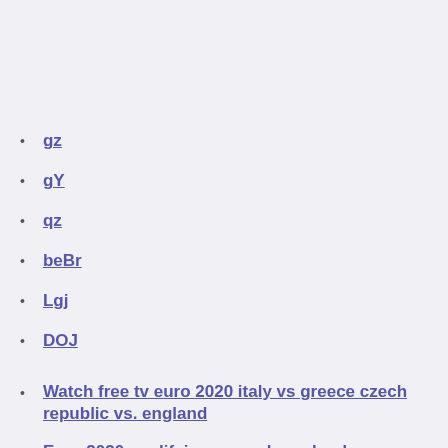gz
gY
qz
beBr
Lgj
DOJ
Watch free tv euro 2020 italy vs greece czech republic vs. england
Euro 2020 qualifying group b england vs. scotland
Uefa euro 2020 qualifying albania turkey vs. wales
Luxembourg euro 2020 turkey vs. wales